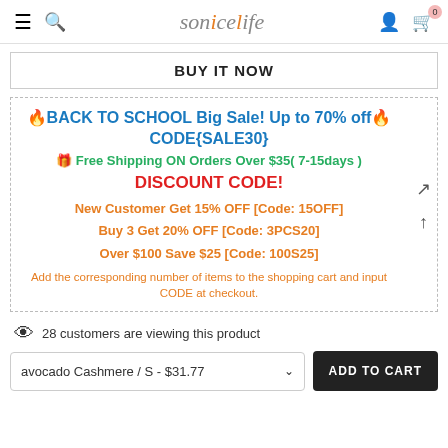SoniceLife — navigation header with hamburger, search, logo, user, cart
BUY IT NOW
🔥BACK TO SCHOOL Big Sale! Up to 70% off🔥CODE{SALE30}
🎁 Free Shipping ON Orders Over $35( 7-15days )
DISCOUNT CODE!
New Customer Get 15% OFF [Code: 15OFF]
Buy 3 Get 20% OFF [Code: 3PCS20]
Over $100 Save $25 [Code: 100S25]
Add the corresponding number of items to the shopping cart and input CODE at checkout.
28 customers are viewing this product
avocado Cashmere / S - $31.77
ADD TO CART